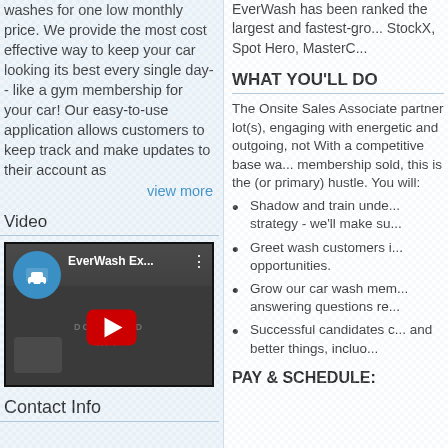washes for one low monthly price. We provide the most cost effective way to keep your car looking its best every single day-- like a gym membership for your car! Our easy-to-use application allows customers to keep track and make updates to their account as
view more
Video
[Figure (screenshot): YouTube video thumbnail for EverWash Ex... showing a car wash promotional animation with a police car character and download app signage. Features YouTube play button.]
Contact Info
EverWash has been ranked the largest and fastest-gro... StockX, Spot Hero, MasterC...
WHAT YOU'LL DO
The Onsite Sales Associate partner lot(s), engaging with energetic and outgoing, not With a competitive base wa... membership sold, this is the (or primary) hustle. You will:
Shadow and train unde... strategy - we'll make su...
Greet wash customers i... opportunities.
Grow our car wash mem... answering questions re...
Successful candidates c... and better things, incluo...
PAY & SCHEDULE: